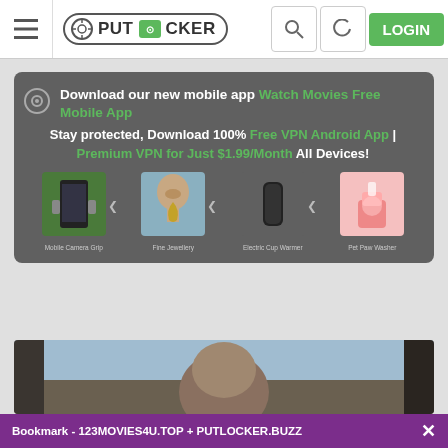☰ PUT LOCKER | LOGIN
Download our new mobile app Watch Movies Free Mobile App
Stay protected, Download 100% Free VPN Android App | Premium VPN for Just $1.99/Month All Devices!
[Figure (screenshot): Four product images in a row: Mobile Camera Grip, Fine Jewellery, Electric Cup Warmer, Pet Paw Washer]
[Figure (photo): Partial photo of a person from behind, visible at the bottom of the page]
Bookmark - 123MOVIES4U.TOP + PUTLOCKER.BUZZ ✕